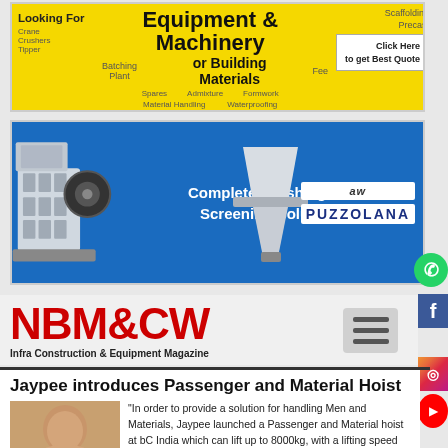[Figure (illustration): Yellow advertisement banner for equipment and machinery or building materials with 'Click Here to get Best Quote' button. Lists items like Crane, Crushers, Batching Plant, Tipper, Material Handling, Spares, Waterproofing, Admixture, Formwork, Scaffolding, Precast.]
[Figure (illustration): Blue advertisement banner for Puzzolana showing crushing and screening machines with text 'Complete Crushing and Screening Solutions' and PUZZOLANA logo.]
NBM&CW Infra Construction & Equipment Magazine
Jaypee introduces Passenger and Material Hoist
[Figure (photo): Portrait photo of a man in a suit]
"In order to provide a solution for handling Men and Materials, Jaypee launched a Passenger and Material hoist at bC India which can lift up to 8000kg, with a lifting speed that can